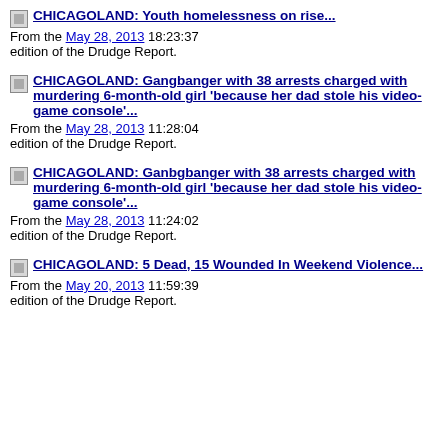CHICAGOLAND: Youth homelessness on rise... From the May 28, 2013 18:23:37 edition of the Drudge Report.
CHICAGOLAND: Gangbanger with 38 arrests charged with murdering 6-month-old girl 'because her dad stole his video-game console'... From the May 28, 2013 11:28:04 edition of the Drudge Report.
CHICAGOLAND: Ganbgbanger with 38 arrests charged with murdering 6-month-old girl 'because her dad stole his video-game console'... From the May 28, 2013 11:24:02 edition of the Drudge Report.
CHICAGOLAND: 5 Dead, 15 Wounded In Weekend Violence... From the May 20, 2013 11:59:39 edition of the Drudge Report.